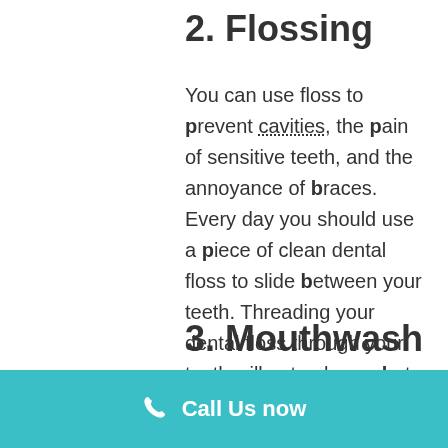2. Flossing
You can use floss to prevent cavities, the pain of sensitive teeth, and the annoyance of braces. Every day you should use a piece of clean dental floss to slide between your teeth. Threading your dental floss through your teeth will not only combat these issues; it will make your teeth move better and faster too.
3. Mouthwash
Call Us now